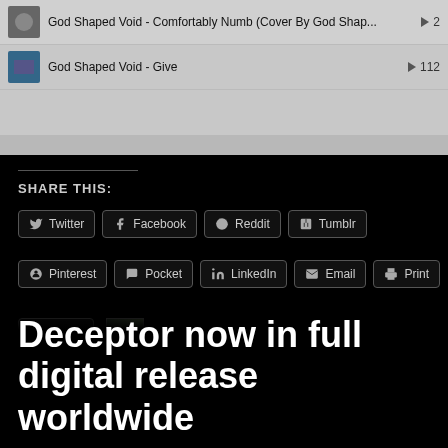[Figure (screenshot): Music player widget showing two tracks: 'God Shaped Void - Comfortably Numb (Cover By God Shap...' with play count 2, and 'God Shaped Void - Give' with play count 112. A Privacy policy button is visible.]
SHARE THIS:
Twitter
Facebook
Reddit
Tumblr
Pinterest
Pocket
LinkedIn
Email
Print
One blogger likes this.
Deceptor now in full digital release worldwide